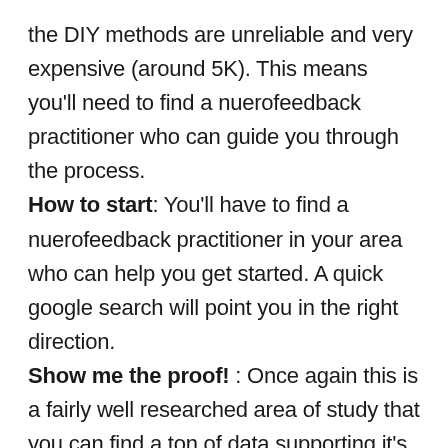the DIY methods are unreliable and very expensive (around 5K). This means you'll need to find a nuerofeedback practitioner who can guide you through the process. How to start: You'll have to find a nuerofeedback practitioner in your area who can help you get started. A quick google search will point you in the right direction. Show me the proof! : Once again this is a fairly well researched area of study that you can find a ton of data supporting it's efficacy. See sources below for more studies.